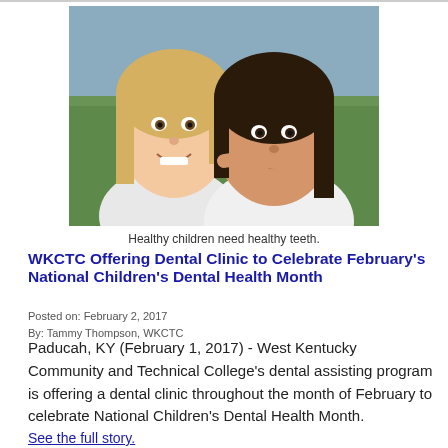[Figure (photo): Two young girls smiling closely together outdoors, one blonde and one brunette, both wearing white shirts.]
Healthy children need healthy teeth.
WKCTC Offering Dental Clinic to Celebrate February's National Children's Dental Health Month
Posted on: February 2, 2017
By: Tammy Thompson, WKCTC
Paducah, KY (February 1, 2017) - West Kentucky Community and Technical College's dental assisting program is offering a dental clinic throughout the month of February to celebrate National Children's Dental Health Month.
See the full story.